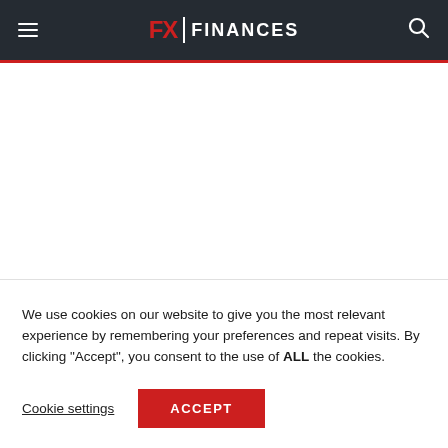FX | FINANCES
We use cookies on our website to give you the most relevant experience by remembering your preferences and repeat visits. By clicking “Accept”, you consent to the use of ALL the cookies.
Cookie settings   ACCEPT